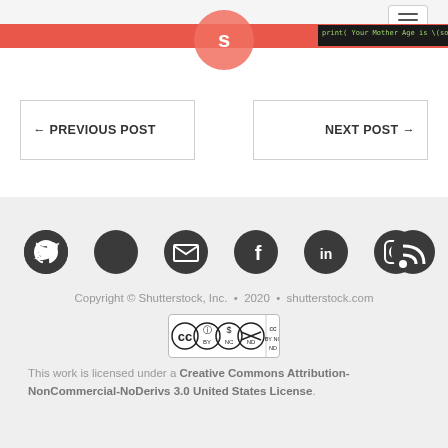[Figure (screenshot): Website header with red banner, Shutterstock logo circle, hamburger menu button, and code snippet showing 'print( Your Mother Age is \(somet']
← PREVIOUS POST
NEXT POST →
[Figure (other): Social media icon buttons row: GitHub, Twitter, Email, Facebook, LinkedIn, Instagram, RSS]
Copyright © Shutterstock, Inc. • 2020 • shutterstock.com
[Figure (other): Creative Commons BY NC ND license badge]
This work is licensed under a Creative Commons Attribution-NonCommercial-NoDerivs 3.0 United States License.